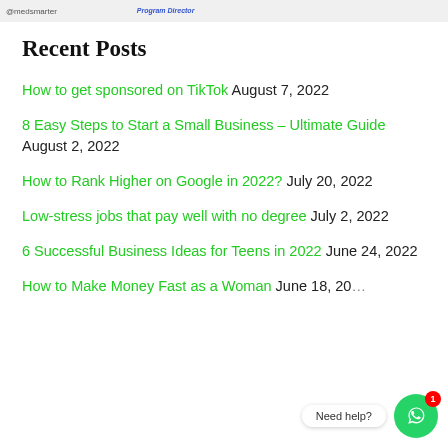[Figure (photo): Top banner image with @medsmarter social tag and 'Program Director' label on the left, partial image visible on right edge]
Recent Posts
How to get sponsored on TikTok August 7, 2022
8 Easy Steps to Start a Small Business – Ultimate Guide August 2, 2022
How to Rank Higher on Google in 2022? July 20, 2022
Low-stress jobs that pay well with no degree July 2, 2022
6 Successful Business Ideas for Teens in 2022 June 24, 2022
How to Make Money Fast as a Woman June 18, 2022